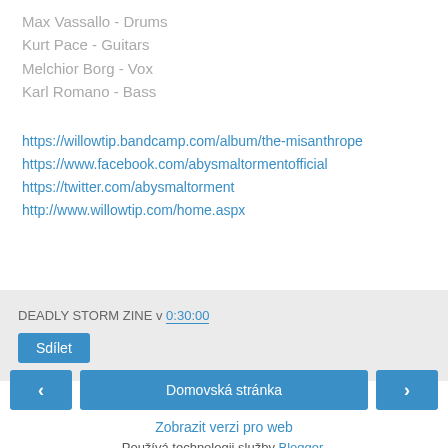Max Vassallo - Drums
Kurt Pace - Guitars
Melchior Borg - Vox
Karl Romano - Bass
https://willowtip.bandcamp.com/album/the-misanthrope
https://www.facebook.com/abysmaltormentofficial
https://twitter.com/abysmaltorment
http://www.willowtip.com/home.aspx
DEADLY STORM ZINE v 0:30:00
Sdílet
Domovská stránka
Zobrazit verzi pro web
Používá technologii služby Blogger.